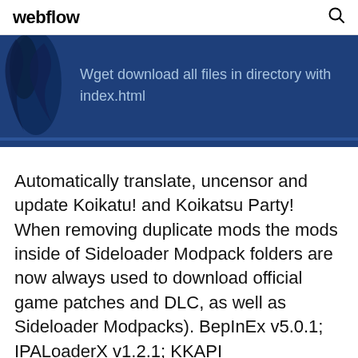webflow
[Figure (illustration): Dark blue banner background with decorative fish/bird silhouette on the left and text 'Wget download all files in directory with index.html' overlaid in light blue]
Automatically translate, uncensor and update Koikatu! and Koikatsu Party! When removing duplicate mods the mods inside of Sideloader Modpack folders are now always used to download official game patches and DLC, as well as Sideloader Modpacks). BepInEx v5.0.1; IPALoaderX v1.2.1; KKAPI